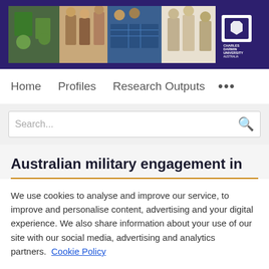[Figure (photo): Charles Darwin University header banner with collage of people doing various activities and CDU logo in top right]
Home   Profiles   Research Outputs   ...
[Figure (screenshot): Search bar with placeholder text 'Search...' and search icon]
Australian military engagement in
We use cookies to analyse and improve our service, to improve and personalise content, advertising and your digital experience. We also share information about your use of our site with our social media, advertising and analytics partners.  Cookie Policy